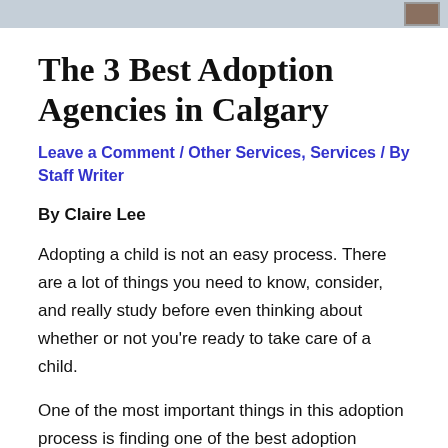[Figure (photo): Top portion of a photo showing people, cropped at bottom of image strip with a small thumbnail box in the upper right corner]
The 3 Best Adoption Agencies in Calgary
Leave a Comment / Other Services, Services / By Staff Writer
By Claire Lee
Adopting a child is not an easy process. There are a lot of things you need to know, consider, and really study before even thinking about whether or not you're ready to take care of a child.
One of the most important things in this adoption process is finding one of the best adoption agencies in Calgary that you know will help you through every twist and turn. Lucky for you, that's what this article is all about so come on and